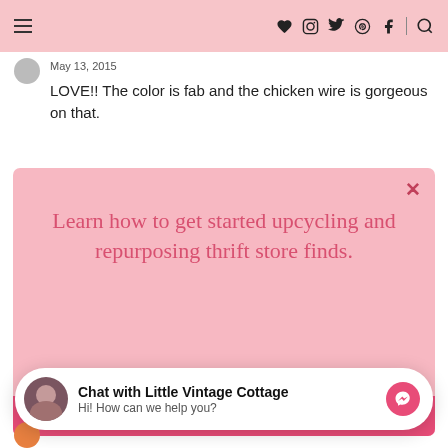Navigation bar with hamburger menu and social icons (heart, instagram, twitter, pinterest, facebook, search)
May 13, 2015
LOVE!! The color is fab and the chicken wire is gorgeous on that.
[Figure (infographic): Pink popup modal with text: Learn how to get started upcycling and repurposing thrift store finds. With a pink GET THE FREE GUIDE button.]
[Figure (infographic): Chat widget: Chat with Little Vintage Cottage. Hi! How can we help you? With messenger icon.]